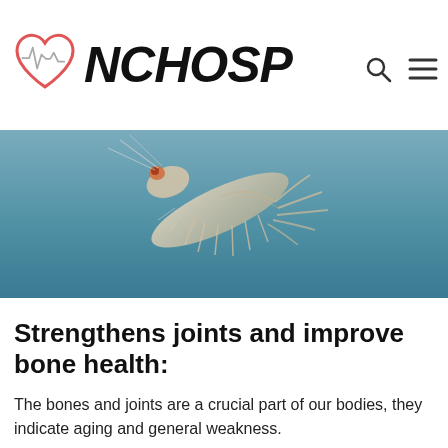NCHOSP
[Figure (photo): Close-up photo of a translucent krill or sea creature against a blue underwater background]
Strengthens joints and improve bone health:
The bones and joints are a crucial part of our bodies, they indicate aging and general weakness.
Krill oil strengthens the bones and joints, increases calcium